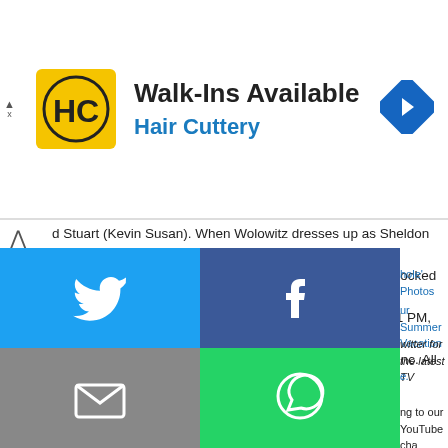[Figure (logo): Hair Cuttery advertisement banner with HC logo, text 'Walk-Ins Available' and 'Hair Cuttery', and a navigation arrow icon]
d Stuart (Kevin Susan). When Wolowitz dresses up as Sheldon for Hallowe... Leonard and Penny's Halloween party. Also, Leonard is shocked that Penny c... on THE BIG BANG THEORY, Thursday, Oct. 25 (8:00-8:31 PM, ET/PT) on th... Photo: Michael Yarish/CBS ÃÂ©2018 CBS Broadcasting, Inc. All Rights Res...
THE BIG BANG THEORY, Thursdays, 8/7c, CBS.
THE BIG BANG THEORY: 'The Planetarium Collision' Photos
THE BIG BANG THEORY: 'The Tam Turbulence' Photos
[Figure (screenshot): Social sharing overlay with four quadrants: Twitter (blue bird icon), Facebook (dark blue f icon), Email (gray envelope icon), WhatsApp (green chat bubble icon), SMS (blue SMS icon), More (green circular arrows icon). Partially visible links to the right.]